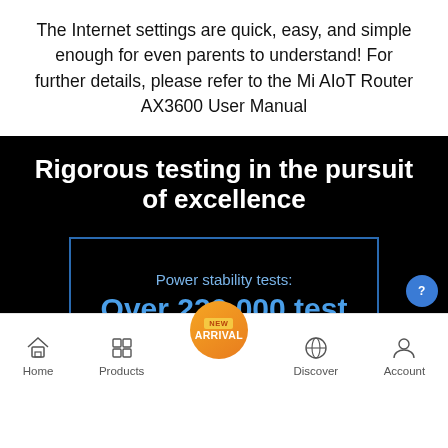The Internet settings are quick, easy, and simple enough for even parents to understand! For further details, please refer to the Mi AIoT Router AX3600 User Manual
[Figure (screenshot): Screenshot of a mobile app page with black background showing 'Rigorous testing in the pursuit of excellence' heading in white bold text, and an inner card with blue border showing 'Power stability tests: Over 220,000 test cycles' in blue text, with a bottom navigation bar showing Home, Products, a New Arrival orange button, Discover, and Account icons.]